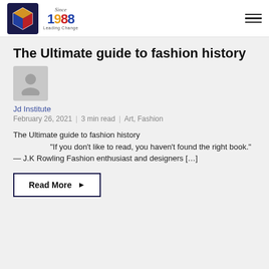JD Institute of Fashion Technology | Since 1988 | Leading Change
The Ultimate guide to fashion history
[Figure (illustration): Grey placeholder avatar silhouette icon]
Jd Institute
February 26, 2021 | 3 min read | Art, Fashion
The Ultimate guide to fashion history “If you don’t like to read, you haven’t found the right book.” — J.K Rowling Fashion enthusiast and designers […]
Read More ►